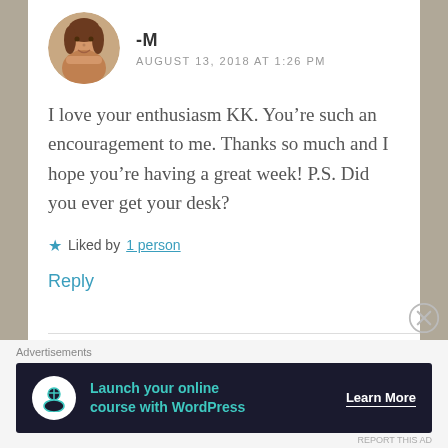[Figure (photo): Circular avatar photo of a woman resting her chin on her hands]
-M
AUGUST 13, 2018 AT 1:26 PM
I love your enthusiasm KK. You’re such an encouragement to me. Thanks so much and I hope you’re having a great week! P.S. Did you ever get your desk?
★ Liked by 1 person
Reply
[Figure (infographic): Advertisement banner: Launch your online course with WordPress — Learn More]
Advertisements